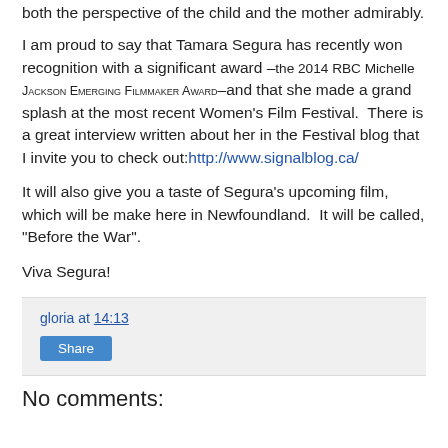both the perspective of the child and the mother admirably.
I am proud to say that Tamara Segura has recently won recognition with a significant award –the 2014 RBC Michelle Jackson Emerging Filmmaker Award–and that she made a grand splash at the most recent Women's Film Festival.  There is a great interview written about her in the Festival blog that I invite you to check out:http://www.signalblog.ca/
It will also give you a taste of Segura's upcoming film, which will be make here in Newfoundland.  It will be called, "Before the War".
Viva Segura!
gloria at 14:13
Share
No comments: